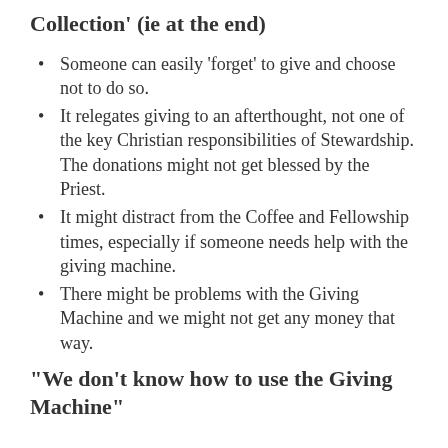Collection' (ie at the end)
Someone can easily 'forget' to give and choose not to do so.
It relegates giving to an afterthought, not one of the key Christian responsibilities of Stewardship. The donations might not get blessed by the Priest.
It might distract from the Coffee and Fellowship times, especially if someone needs help with the giving machine.
There might be problems with the Giving Machine and we might not get any money that way.
“We don’t know how to use the Giving Machine”